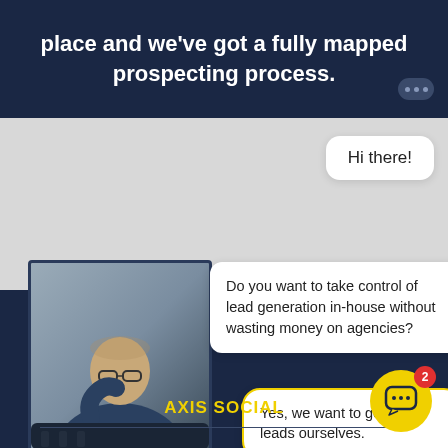place and we've got a fully mapped prospecting process.
Hi there!
Do you want to take control of lead generation in-house without wasting money on agencies?
[Figure (photo): Man sitting on a couch, wearing glasses and a dark blue shirt, smiling/laughing, photographed in a studio-like setting]
Yes, we want to generate leads ourselves.
No, we want to outsource it to an agency.
AXIS SOCIAL